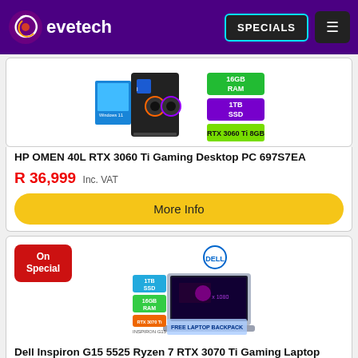evetech - SPECIALS
[Figure (photo): HP OMEN 40L gaming desktop PC product image with RTX 3060 Ti 8GB, 16GB RAM, 1TB SSD badges]
HP OMEN 40L RTX 3060 Ti Gaming Desktop PC 697S7EA
R 36,999 Inc. VAT
More Info
[Figure (photo): Dell Inspiron G15 5525 gaming laptop with On Special badge, Dell logo, 1TB SSD, 16GB RAM, RTX 3070 Ti 8GB GDDR6 badges, FREE Laptop Backpack offer]
Dell Inspiron G15 5525 Ryzen 7 RTX 3070 Ti Gaming Laptop
R 36,999